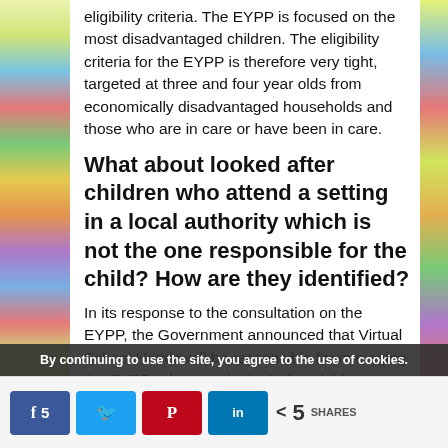eligibility criteria. The EYPP is focused on the most disadvantaged children. The eligibility criteria for the EYPP is therefore very tight, targeted at three and four year olds from economically disadvantaged households and those who are in care or have been in care.
What about looked after children who attend a setting in a local authority which is not the one responsible for the child? How are they identified?
In its response to the consultation on the EYPP, the Government announced that Virtual School Heads will be responsible for managing the EYPP relating to looked after children. Virtual School Heads is the
By continuing to use the site, you agree to the use of cookies.
5 SHARES